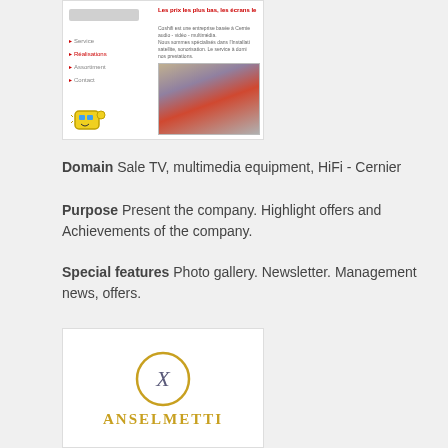[Figure (screenshot): Screenshot of a website (Coshifi) with red navigation links (Service, Réalisations, Assortiment, Contact), red header text 'Les prix les plus bas, les écrans le...', descriptive text in French, and a photo of a storefront.]
Domain Sale TV, multimedia equipment, HiFi - Cernier
Purpose Present the company. Highlight offers and Achievements of the company.
Special features Photo gallery. Newsletter. Management news, offers.
[Figure (logo): Anselmetti logo with an X inside a circle and 'ANSELMETTI' text in gold/amber color below.]